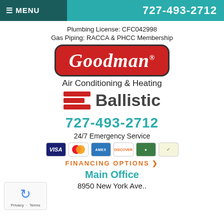≡ MENU  727-493-2712
Plumbing License: CFC042998
Gas Piping: RACCA & PHCC Membership
[Figure (logo): Goodman Air Conditioning & Heating logo with red rounded rectangle badge and italic white text, plus Ballistic brand logo with red stripes]
727-493-2712
24/7 Emergency Service
[Figure (other): Payment method icons: Visa, Mastercard, American Express, Discover, and two other cards]
FINANCING OPTIONS ❯
Main Office
8950 New York Ave..